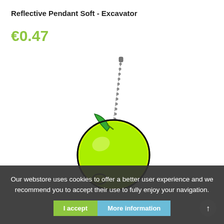Reflective Pendant Soft - Excavator
€0.47
[Figure (photo): A yellow-green lemon/lime shaped reflective pendant keychain with a ball chain, featuring a green leaf detail and black outline on a white background.]
Our webstore uses cookies to offer a better user experience and we recommend you to accept their use to fully enjoy your navigation.
I accept   More information